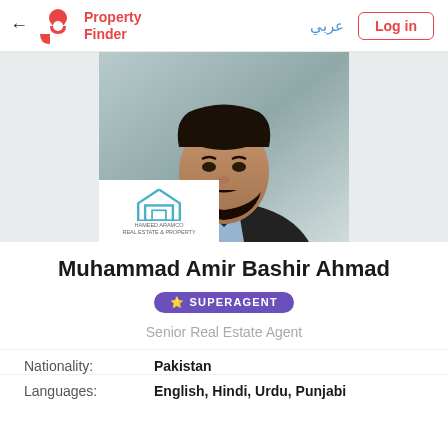← Property Finder | عربي | Log in
[Figure (photo): Profile photo of Muhammad Amir Bashir Ahmad, a man with dark hair and beard wearing a dark suit and light blue shirt, with an agency logo overlay in the bottom left corner]
Muhammad Amir Bashir Ahmad
⭐ SUPERAGENT
Senior Real Estate Agent
Nationality: Pakistan
Languages: English, Hindi, Urdu, Punjabi